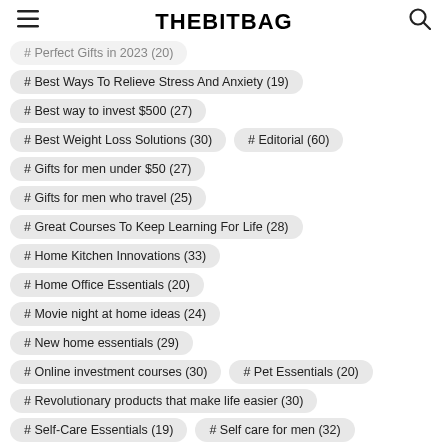THEBITBAG
# Perfect Gifts in 2023 (20)
# Best Ways To Relieve Stress And Anxiety (19)
# Best way to invest $500 (27)
# Best Weight Loss Solutions (30)
# Editorial (60)
# Gifts for men under $50 (27)
# Gifts for men who travel (25)
# Great Courses To Keep Learning For Life (28)
# Home Kitchen Innovations (33)
# Home Office Essentials (20)
# Movie night at home ideas (24)
# New home essentials (29)
# Online investment courses (30)
# Pet Essentials (20)
# Revolutionary products that make life easier (30)
# Self-Care Essentials (19)
# Self care for men (32)